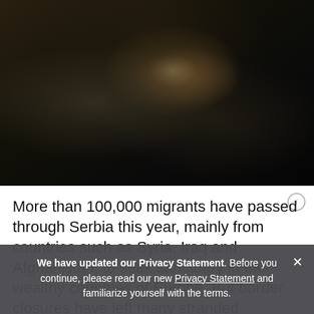[Figure (photo): Dark photograph of migrants/refugees in Serbia, showing people lying on makeshift beds in a dim, crowded space. A child is visible holding a glowing phone.]
More than 100,000 migrants have passed through Serbia this year, mainly from countries such as Syria, Iraq and Afghanistan, to seek sanctuary in the wealthy countries of Europe. But border closures have left many stranded.
We have updated our Privacy Statement. Before you continue, please read our new Privacy Statement and familiarize yourself with the terms.